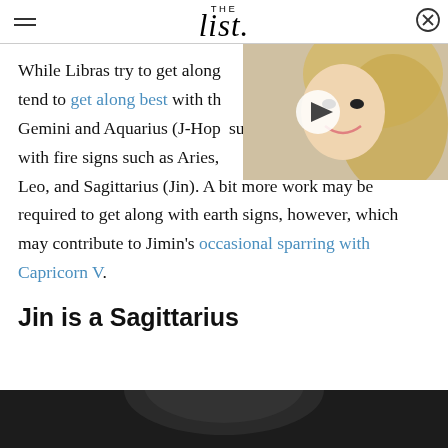THE list
While Libras try to get along with everyone, they tend to get along best with the other air signs — Gemini and Aquarius (J-Hope), and are surprisingly compatible with fire signs such as Aries, Leo, and Sagittarius (Jin). A bit more work may be required to get along with earth signs, however, which may contribute to Jimin's occasional sparring with Capricorn V.
[Figure (photo): Video overlay showing a blonde woman smiling, with a play button in the center]
Jin is a Sagittarius
[Figure (photo): Photo strip at bottom of page showing a person with dark hair]